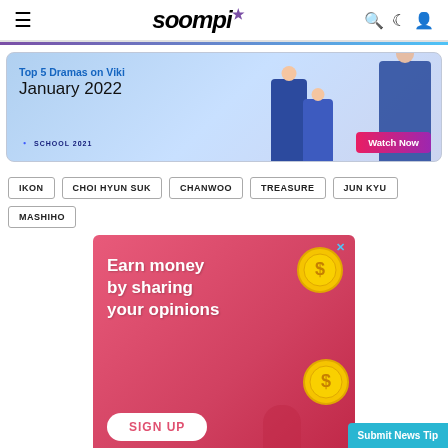soompi
[Figure (photo): Banner advertisement for Top 5 Dramas on Viki January 2022 featuring School 2021 with a Watch Now button and photos of Korean drama cast members in school uniforms]
IKON
CHOI HYUN SUK
CHANWOO
TREASURE
JUN KYU
MASHIHO
[Figure (infographic): Pink advertisement banner with text 'Earn money by sharing your opinions' with coin graphics and a SIGN UP button]
Submit News Tip